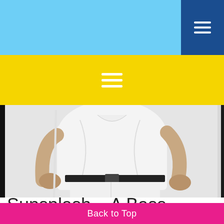[Figure (photo): Person wearing white shirt and white pants with black belt, photographed from behind/side showing back of outfit. Light grey background.]
Sunsplash – A Bass Oddesy
The absolute very best in Reggae Revival
Back to Top